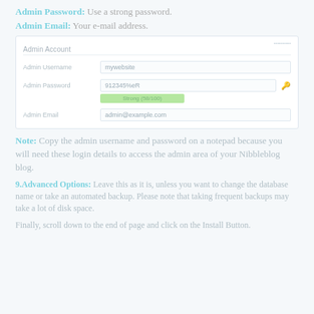Admin Password: Use a strong password.
Admin Email: Your e-mail address.
[Figure (screenshot): Admin Account form screenshot showing fields: Admin Username (mywebsite), Admin Password (912345%eR) with strength indicator 'Strong (58/100)', and Admin Email (admin@example.com)]
Note: Copy the admin username and password on a notepad because you will need these login details to access the admin area of your Nibbleblog blog.
9.Advanced Options: Leave this as it is, unless you want to change the database name or take an automated backup. Please note that taking frequent backups may take a lot of disk space.
Finally, scroll down to the end of page and click on the Install Button.